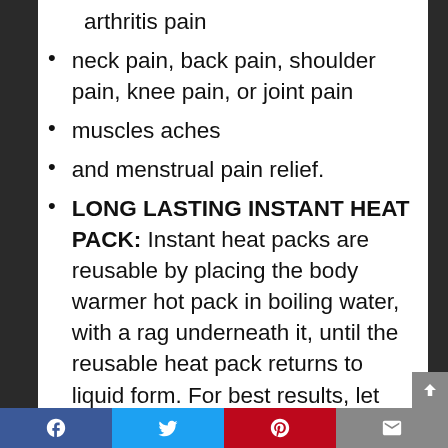arthritis pain
neck pain, back pain, shoulder pain, knee pain, or joint pain
muscles aches
and menstrual pain relief.
LONG LASTING INSTANT HEAT PACK: Instant heat packs are reusable by placing the body warmer hot pack in boiling water, with a rag underneath it, until the reusable heat pack returns to liquid form. For best results, let cool and store in liquid form.
HEAT PATCHES AND WRAPS: